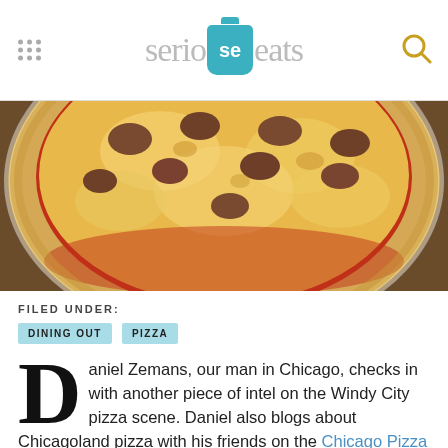serious eats
[Figure (photo): Close-up photo of a Chicago-style pizza with sausage and cheese toppings on a round pan, viewed from above at an angle.]
FILED UNDER:
DINING OUT
PIZZA
Daniel Zemans, our man in Chicago, checks in with another piece of intel on the Windy City pizza scene. Daniel also blogs about Chicagoland pizza with his friends on the Chicago Pizza Club blog. --The Mgmt.